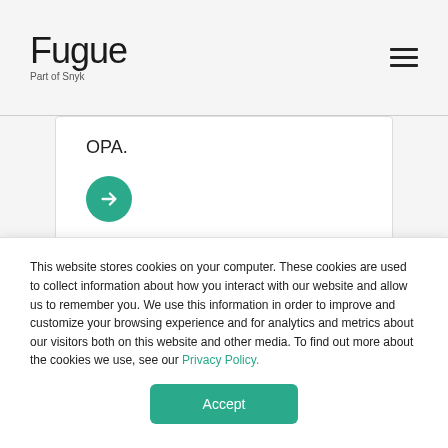Fugue Part of Snyk
OPA.
[Figure (other): Green circular arrow button pointing right]
Live Simulation of Cloud
This website stores cookies on your computer. These cookies are used to collect information about how you interact with our website and allow us to remember you. We use this information in order to improve and customize your browsing experience and for analytics and metrics about our visitors both on this website and other media. To find out more about the cookies we use, see our Privacy Policy.
Accept